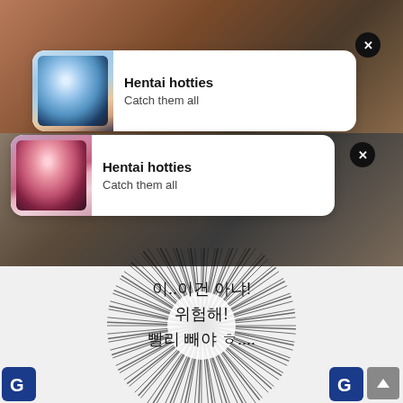[Figure (screenshot): Mobile notification popup with anime character thumbnail (blue-haired girl). Title: Hentai hotties. Subtitle: Catch them all]
Hentai hotties
Catch them all
[Figure (screenshot): Mobile notification popup with anime character thumbnail (red-haired girl). Title: Hentai hotties. Subtitle: Catch them all]
Hentai hotties
Catch them all
[Figure (illustration): Manga radial sunburst effect surrounding Korean text expressing alarm]
이..이건 아냐!
위험해!
빨리 빼야 ㅎ....